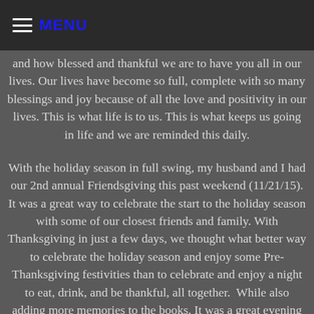MENU
and how blessed and thankful we are to have you all in our lives. Our lives have become so full, complete with so many blessings and joy because of all the love and positivity in our lives. This is what life is to us. This is what keeps us going in life and we are reminded this daily.
With the holiday season in full swing, my husband and I had our 2nd annual Friendsgiving this past weekend (11/21/15). It was a great way to celebrate the start to the holiday season with some of our closest friends and family. With Thanksgiving in just a few days, we thought what better way to celebrate the holiday season and enjoy some Pre-Thanksgiving festivities than to celebrate and enjoy a night to eat, drink, and be thankful, all together.  While also adding more memories to the books. It was a great evening filled with lots of laughs, fun, and very full bellies. In this blog post,  I'm sharing some photos from the evening, some of my recipes from the night and what I love to make during the holidays, and some inspiration when planning parties like this one and other holiday get togethers.